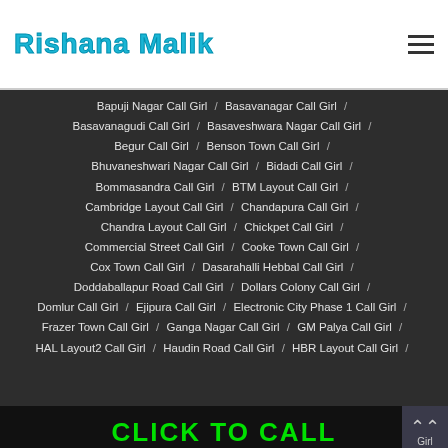Rishana Malik
Bapuji Nagar Call Girl / Basavanagar Call Girl / Basavanagudi Call Girl / Basaveshwara Nagar Call Girl / Begur Call Girl / Benson Town Call Girl / Bhuvaneshwari Nagar Call Girl / Bidadi Call Girl / Bommasandra Call Girl / BTM Layout Call Girl / Cambridge Layout Call Girl / Chandapura Call Girl / Chandra Layout Call Girl / Chickpet Call Girl / Commercial Street Call Girl / Cooke Town Call Girl / Cox Town Call Girl / Dasarahalli Hebbal Call Girl / Doddaballapur Road Call Girl / Dollars Colony Call Girl / Domlur Call Girl / Ejipura Call Girl / Electronic City Phase 1 Call Girl / Frazer Town Call Girl / Ganga Nagar Call Girl / GM Palya Call Girl / HAL Layout2 Call Girl / Haudin Road Call Girl / HBR Layout Call Girl /
CLICK TO CALL